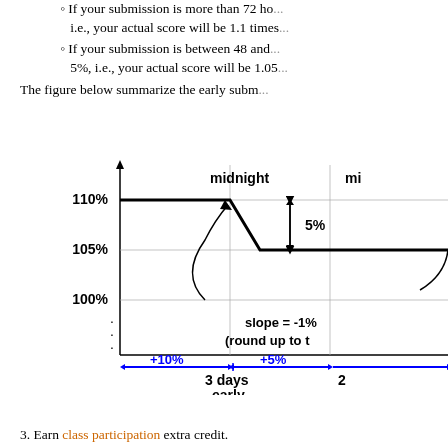If your submission is more than 72 hours early, i.e., your actual score will be 1.1 times...
If your submission is between 48 and ... 5%, i.e., your actual score will be 1.05...
The figure below summarize the early subm...
[Figure (other): Graph showing early submission bonus percentages. Y-axis shows score percentages (100%, 105%, 110%). X-axis shows days early (3 days, 2 days). Annotations show +10% and +5% bonus zones in blue, a slope = -1% label, '(round up to t...' note, and a 5% bracket between 110% and 105% near 'midnight' label.]
3. Earn class participation extra credit.